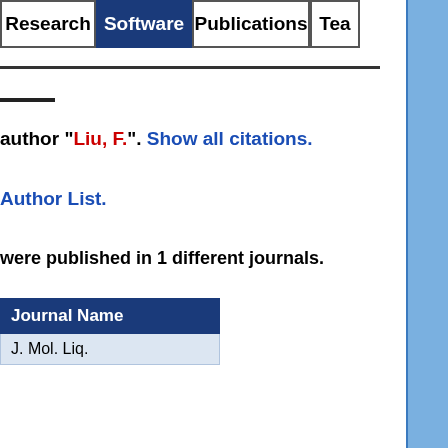Research | Software | Publications | Tea...
author "Liu, F.". Show all citations.
Author List.
were published in 1 different journals.
| Journal Name |
| --- |
| J. Mol. Liq. |